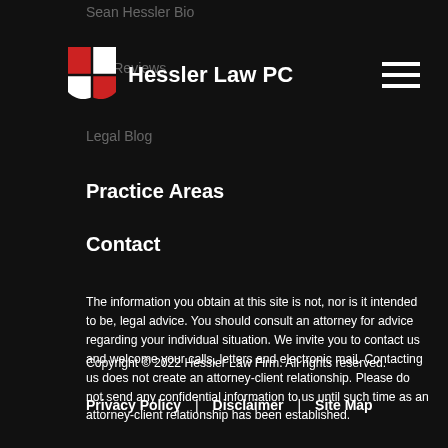Sean Hessler Bio
and Reviews
Legal Blog
[Figure (logo): Hessler Law PC logo with red and white shield emblem and bold white text]
Practice Areas
Contact
The information you obtain at this site is not, nor is it intended to be, legal advice. You should consult an attorney for advice regarding your individual situation. We invite you to contact us and welcome your calls, letters and electronic mail. Contacting us does not create an attorney-client relationship. Please do not send any confidential information to us until such time as an attorney-client relationship has been established.
Copyright © 2022 Hessler Law Firm. All rights reserved.
Privacy Policy  |  Disclaimer  |  Site Map